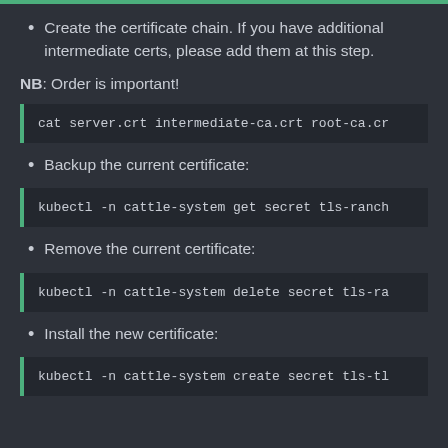Create the certificate chain. If you have additional intermediate certs, please add them at this step.
NB: Order is important!
[Figure (screenshot): Code block: cat server.crt intermediate-ca.crt root-ca.cr]
Backup the current certificate:
[Figure (screenshot): Code block: kubectl -n cattle-system get secret tls-ranch]
Remove the current certificate:
[Figure (screenshot): Code block: kubectl -n cattle-system delete secret tls-ra]
Install the new certificate:
[Figure (screenshot): Code block: kubectl -n cattle-system create secret tls-tl]